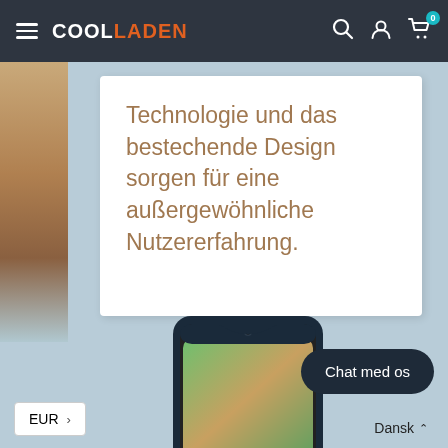COOLLADEN
Technologie und das bestechende Design sorgen für eine außergewöhnliche Nutzererfahrung.
[Figure (photo): Smartphone (Huawei Mate 20 Pro) shown from the front with colorful green/orange display, dark blue frame, positioned in lower center of page against light blue background.]
Chat med os
EUR
Dansk